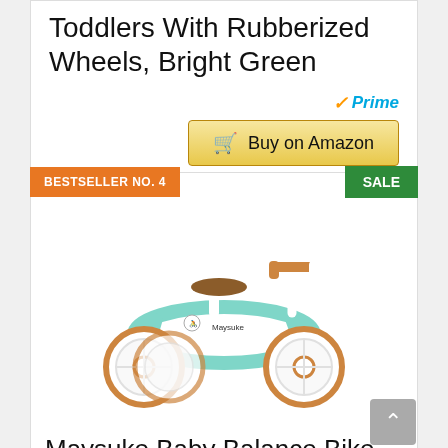Toddlers With Rubberized Wheels, Bright Green
[Figure (other): Amazon Prime badge and Buy on Amazon button with cart icon]
BESTSELLER NO. 4
SALE
[Figure (photo): Maysuke baby balance bike in white and orange/teal colors with three wheels]
Maysuke Baby Balance Bike For 1 2 Year Old Boy And